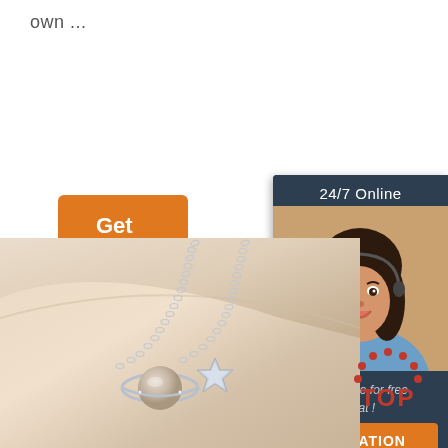own ...
[Figure (other): Orange 'Get Price' button]
[Figure (other): 24/7 Online chat widget with customer service representative photo, 'Click here for free chat!' text, and orange QUOTATION button]
[Figure (photo): Silver necklace with planet and star pendant on beige fabric background]
[Figure (other): Orange and red TOP button with dotted arch icon]